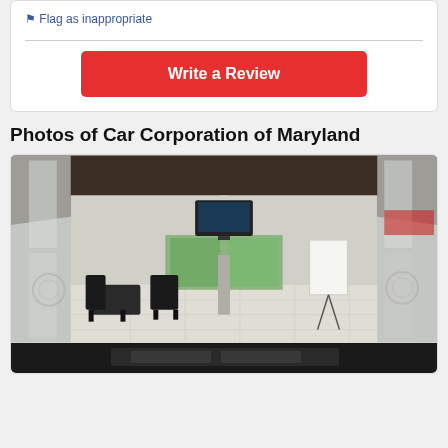Flag as inappropriate
Write a Review
Photos of Car Corporation of Maryland
[Figure (photo): Interior of Car Corporation of Maryland dealership showroom viewed through open glass doors, showing a waiting area with chairs and tables, vaulted ceiling with a mounted TV, tile floor, and a sign on an easel. On the right, reflections on glass doors show the outdoor lot.]
[Figure (photo): Bottom strip of another photo showing a dark outdoor/vehicle scene.]